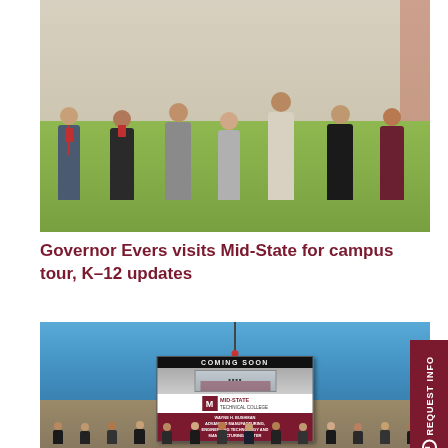[Figure (photo): Group photo of approximately 7 people including Governor Evers standing outdoors in front of a brick building with green grass background]
Governor Evers visits Mid-State for campus tour, K–12 updates
[Figure (photo): Outdoor photo showing a large construction sign being lifted by a crane that reads 'COMING SOON - Wayne H. Bushman Advanced Manufacturing, Engineering Technology and (Manufacturing) Center' with Mid-State Technical College logo. A group of people are gathered below in front of an open field with construction in progress.]